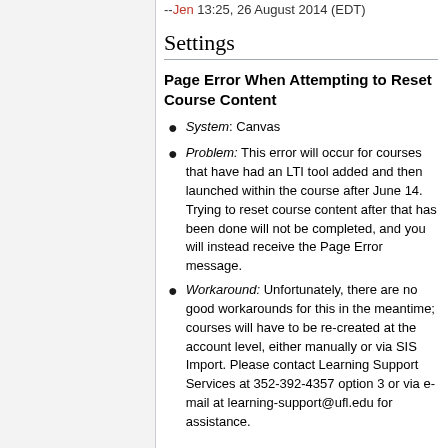--Jen 13:25, 26 August 2014 (EDT)
Settings
Page Error When Attempting to Reset Course Content
System: Canvas
Problem: This error will occur for courses that have had an LTI tool added and then launched within the course after June 14. Trying to reset course content after that has been done will not be completed, and you will instead receive the Page Error message.
Workaround: Unfortunately, there are no good workarounds for this in the meantime; courses will have to be re-created at the account level, either manually or via SIS Import. Please contact Learning Support Services at 352-392-4357 option 3 or via e-mail at learning-support@ufl.edu for assistance.